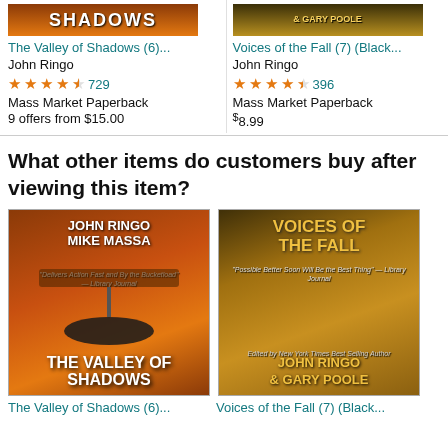[Figure (photo): Book cover top portion of The Valley of Shadows showing flames and title 'SHADOWS']
The Valley of Shadows (6)...
John Ringo
★★★★½ 729
Mass Market Paperback
9 offers from $15.00
[Figure (photo): Book cover top portion of Voices of the Fall showing authors John Ringo & Gary Poole]
Voices of the Fall (7) (Black...
John Ringo
★★★★½ 396
Mass Market Paperback
$8.99
What other items do customers buy after viewing this item?
[Figure (photo): Book cover of The Valley of Shadows by John Ringo and Mike Massa, showing a steampunk airship scene with fiery orange background]
[Figure (photo): Book cover of Voices of the Fall by John Ringo and Gary Poole, showing two armed soldiers with fiery background]
The Valley of Shadows (6)...
Voices of the Fall (7) (Black...